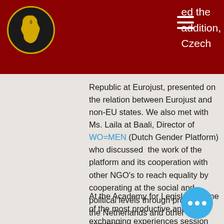ed the addition, Czech Republic at Eurojust, presented on the relation between Eurojust and non-EU states.
Republic at Eurojust, presented on the relation between Eurojust and non-EU states. We also met with Ms. Laila at Baali, Director of WO=MEN (Dutch Gender Platform) who discussed the work of the platform and its cooperation with other NGO's to reach equality by cooperating at the social and political levels through projects in the Netherlands and other countries.
At the Academy for Legislation, one of the most productive and exchanging experiences session took place. A brief introduction about the Academy and its programs (LLM, training programs, tailored programs, etc) was presented by Mr. Bert Niemijer, Director at Academy for Legislation. Then, rounds & short presentations